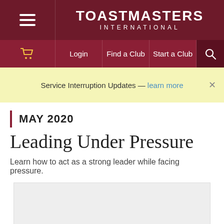TOASTMASTERS INTERNATIONAL — Login | Find a Club | Start a Club
Service Interruption Updates — learn more
MAY 2020
Leading Under Pressure
Learn how to act as a strong leader while facing pressure.
[Figure (photo): Article image placeholder for Leading Under Pressure article]